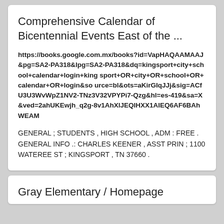Comprehensive Calendar of Bicentennial Events East of the ...
https://books.google.com.mx/books?id=VapHAQAAMAAJ&pg=SA2-PA318&lpg=SA2-PA318&dq=kingsport+city+school+calendar+login+kingsport+OR+city+OR+school+OR+calendar+OR+login&source=bl&ots=aKirGIqJJj&sig=ACfU3U3WvWpZ1NV2-TNz3V32VPYPi7-Qzg&hl=es-419&sa=X&ved=2ahUKEwjh_q2g-8v1AhXlJEQIHXX1AIEQ6AF6BAhWEAM
GENERAL ; STUDENTS , HIGH SCHOOL , ADM : FREE . GENERAL INFO .: CHARLES KEENER , ASST PRIN ; 1100 WATEREE ST ; KINGSPORT , TN 37660 .
Gray Elementary / Homepage